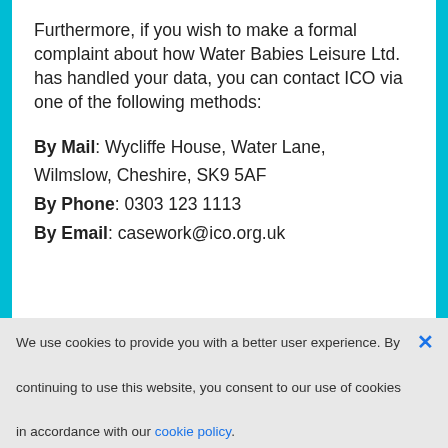Furthermore, if you wish to make a formal complaint about how Water Babies Leisure Ltd. has handled your data, you can contact ICO via one of the following methods:
By Mail: Wycliffe House, Water Lane, Wilmslow, Cheshire, SK9 5AF
By Phone: 0303 123 1113
By Email: casework@ico.org.uk
GDPR Compliance  Cookie  Terms and Conditions  Privacy Pol...
We use cookies to provide you with a better user experience. By continuing to use this website, you consent to our use of cookies in accordance with our cookie policy.